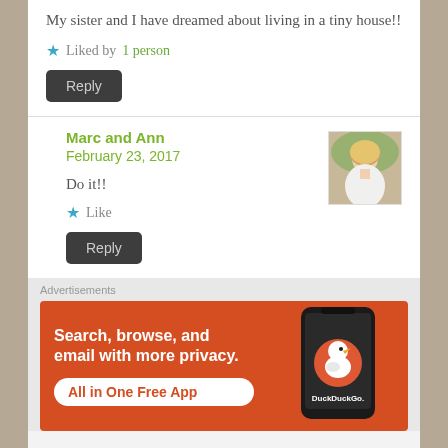My sister and I have dreamed about living in a tiny house!!
Liked by 1 person
[Figure (screenshot): Reply button (dark grey rounded rectangle)]
Marc and Ann
February 23, 2017
[Figure (photo): Avatar photo of a blonde woman]
Do it!!
Like
[Figure (screenshot): Reply button (dark grey rounded rectangle)]
Advertisements
[Figure (screenshot): DuckDuckGo advertisement banner with orange background. Text: Search, browse, and email with more privacy. All in One Free App. Shows a phone with DuckDuckGo logo.]